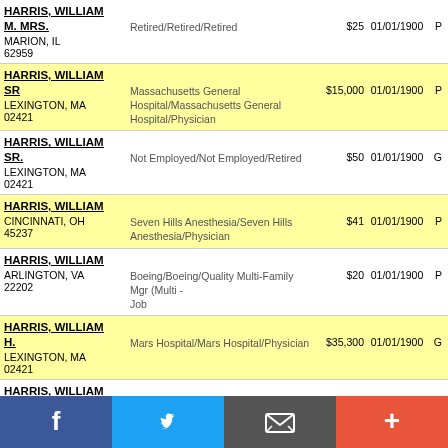| Name/Address | Employer/Occupation | Amount | Date | Type |
| --- | --- | --- | --- | --- |
| HARRIS, WILLIAM M. MRS.
MARION, IL
62959 | Retired/Retired/Retired | $25 | 01/01/1900 | P |
| HARRIS, WILLIAM SR
LEXINGTON, MA
02421 | Massachusetts General Hospital/Massachusetts General Hospital/Physician | $15,000 | 01/01/1900 | P |
| HARRIS, WILLIAM SR.
LEXINGTON, MA
02421 | Not Employed/Not Employed/Retired | $50 | 01/01/1900 | G |
| HARRIS, WILLIAM
CINCINNATI, OH
45237 | Seven Hills Anesthesia/Seven Hills Anesthesia/Physician | $41 | 01/01/1900 | P |
| HARRIS, WILLIAM
ARLINGTON, VA
22202 | Boeing/Boeing/Quality Multi-Family Mgr (Multi - Job | $20 | 01/01/1900 | P |
| HARRIS, WILLIAM H.
LEXINGTON, MA
02421 | Mars Hospital/Mars Hospital/Physician | $35,300 | 01/01/1900 | G |
| HARRIS, WILLIAM K
DAYTON, OH | Huber Hts City School/Huber Hts City |  |  |  |